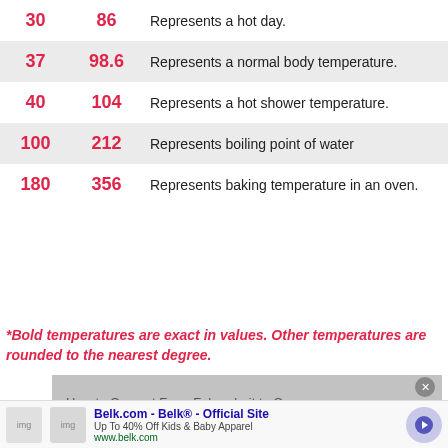| °C | °F | Description |
| --- | --- | --- |
| 30 | 86 | Represents a hot day. |
| 37 | 98.6 | Represents a normal body temperature. |
| 40 | 104 | Represents a hot shower temperature. |
| 100 | 212 | Represents boiling point of water |
| 180 | 356 | Represents baking temperature in an oven. |
*Bold temperatures are exact in values. Other temperatures are rounded to the nearest degree.